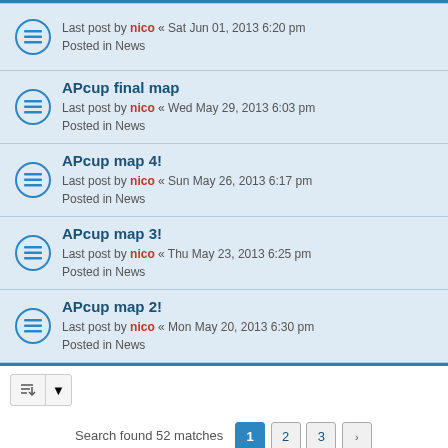Last post by nico « Sat Jun 01, 2013 6:20 pm
Posted in News
APcup final map
Last post by nico « Wed May 29, 2013 6:03 pm
Posted in News
APcup map 4!
Last post by nico « Sun May 26, 2013 6:17 pm
Posted in News
APcup map 3!
Last post by nico « Thu May 23, 2013 6:25 pm
Posted in News
APcup map 2!
Last post by nico « Mon May 20, 2013 6:30 pm
Posted in News
Search found 52 matches  1  2  3  >
Jump to
Timeruns.net  •  Board index    Delete cookies   All times are UTC+01:00
Powered by phpBB® Forum Software © phpBB Limited
Privacy | Terms